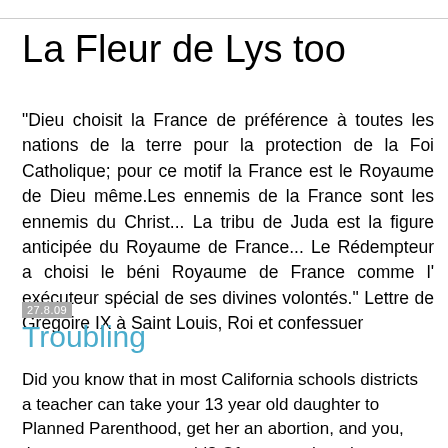La Fleur de Lys too
"Dieu choisit la France de préférence à toutes les nations de la terre pour la protection de la Foi Catholique; pour ce motif la France est le Royaume de Dieu même.Les ennemis de la France sont les ennemis du Christ... La tribu de Juda est la figure anticipée du Royaume de France... Le Rédempteur a choisi le béni Royaume de France comme l' exécuteur spécial de ses divines volontés." Lettre de Grégoire IX à Saint Louis, Roi et confessuer
27.8.09
Troubling
Did you know that in most California schools districts a teacher can take your 13 year old daughter to Planned Parenthood, get her an abortion, and you, the parent are never told? Of course when the emotional and medical problems become apparent to you and the abortion is